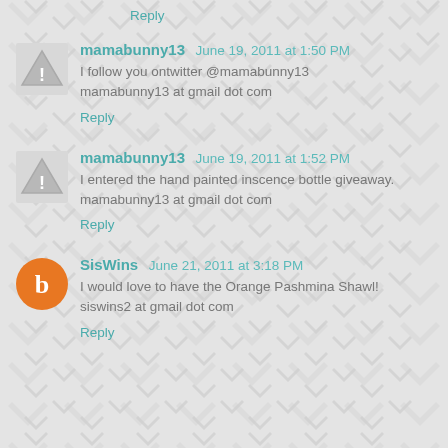Reply
mamabunny13  June 19, 2011 at 1:50 PM
I follow you ontwitter @mamabunny13
mamabunny13 at gmail dot com
Reply
mamabunny13  June 19, 2011 at 1:52 PM
I entered the hand painted inscence bottle giveaway.
mamabunny13 at gmail dot com
Reply
SisWins  June 21, 2011 at 3:18 PM
I would love to have the Orange Pashmina Shawl!
siswins2 at gmail dot com
Reply